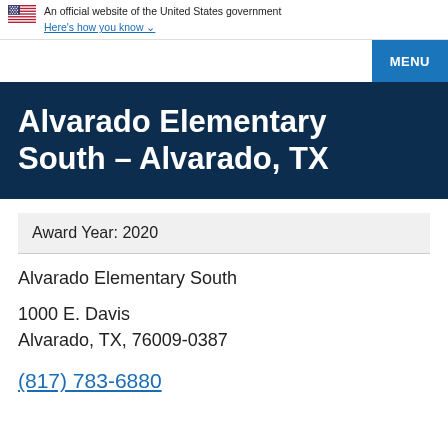An official website of the United States government Here's how you know
MENU
Alvarado Elementary South – Alvarado, TX
Award Year: 2020
Alvarado Elementary South
1000 E. Davis
Alvarado, TX, 76009-0387
(817) 783-6880